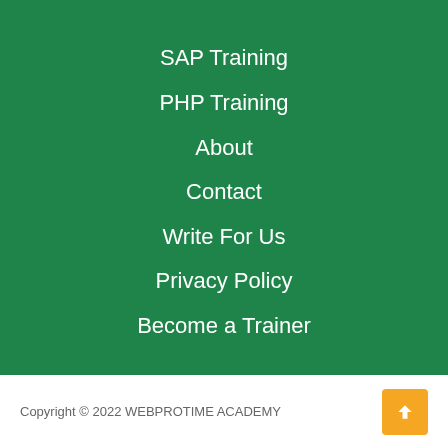SAP Training
PHP Training
About
Contact
Write For Us
Privacy Policy
Become a Trainer
Copyright © 2022 WEBPROTIME ACADEMY